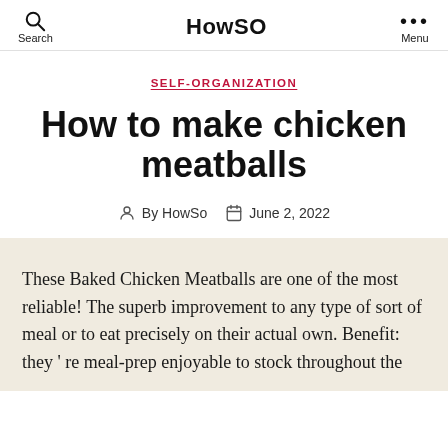Search | HowSO | Menu
SELF-ORGANIZATION
How to make chicken meatballs
By HowSo   June 2, 2022
These Baked Chicken Meatballs are one of the most reliable! The superb improvement to any type of sort of meal or to eat precisely on their actual own. Benefit: they ' re meal-prep enjoyable to stock throughout the